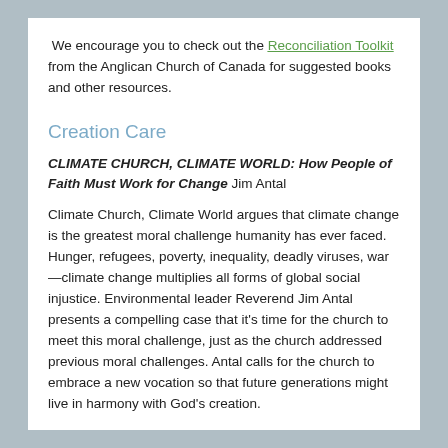We encourage you to check out the Reconciliation Toolkit from the Anglican Church of Canada for suggested books and other resources.
Creation Care
CLIMATE CHURCH, CLIMATE WORLD: How People of Faith Must Work for Change Jim Antal
Climate Church, Climate World argues that climate change is the greatest moral challenge humanity has ever faced. Hunger, refugees, poverty, inequality, deadly viruses, war—climate change multiplies all forms of global social injustice. Environmental leader Reverend Jim Antal presents a compelling case that it's time for the church to meet this moral challenge, just as the church addressed previous moral challenges. Antal calls for the church to embrace a new vocation so that future generations might live in harmony with God's creation.